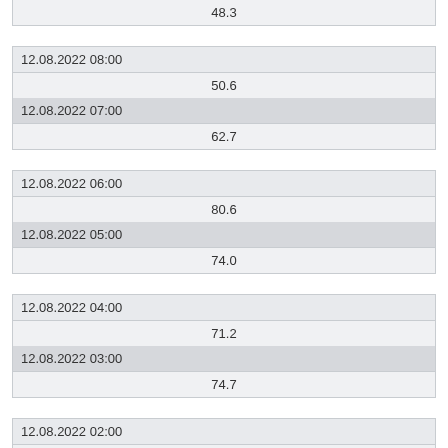| (partial top value visible) |
| 12.08.2022 08:00 |
| 50.6 |
| 12.08.2022 07:00 |
| 62.7 |
| 12.08.2022 06:00 |
| 80.6 |
| 12.08.2022 05:00 |
| 74.0 |
| 12.08.2022 04:00 |
| 71.2 |
| 12.08.2022 03:00 |
| 74.7 |
| 12.08.2022 02:00 |
| 78.8 |
| 12.08.2022 01:00 |